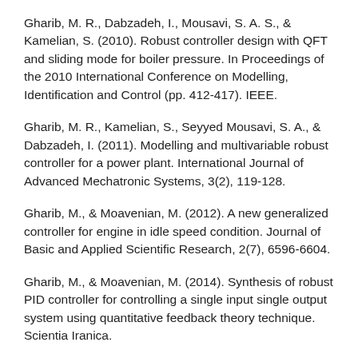Gharib, M. R., Dabzadeh, I., Mousavi, S. A. S., & Kamelian, S. (2010). Robust controller design with QFT and sliding mode for boiler pressure. In Proceedings of the 2010 International Conference on Modelling, Identification and Control (pp. 412-417). IEEE.
Gharib, M. R., Kamelian, S., Seyyed Mousavi, S. A., & Dabzadeh, I. (2011). Modelling and multivariable robust controller for a power plant. International Journal of Advanced Mechatronic Systems, 3(2), 119-128.
Gharib, M., & Moavenian, M. (2012). A new generalized controller for engine in idle speed condition. Journal of Basic and Applied Scientific Research, 2(7), 6596-6604.
Gharib, M., & Moavenian, M. (2014). Synthesis of robust PID controller for controlling a single input single output system using quantitative feedback theory technique. Scientia Iranica.